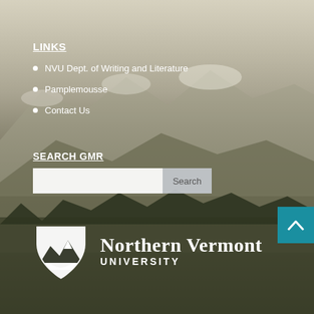LINKS
NVU Dept. of Writing and Literature
Pamplemousse
Contact Us
SEARCH GMR
[Figure (screenshot): Search input box with a text field and Search button]
[Figure (logo): Northern Vermont University logo — white NVU shield icon with mountain/river graphic and text 'Northern Vermont UNIVERSITY']